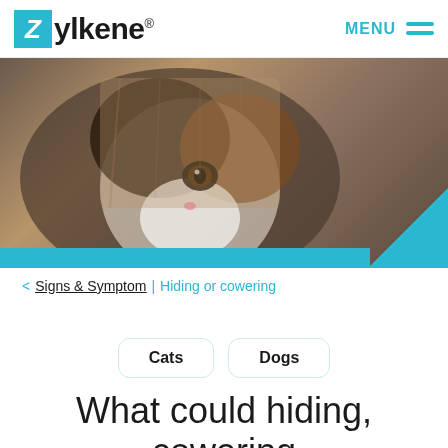Zylkene® — MENU
[Figure (photo): Close-up photo of a cat peeking out from under a brown paper bag or similar covering, showing its face with one visible eye. A teal decorative bar and corner accent are at the bottom of the image.]
< Signs & Symptom | Hiding or cowering
Cats   Dogs
What could hiding, cowering or withdrawal from its usual